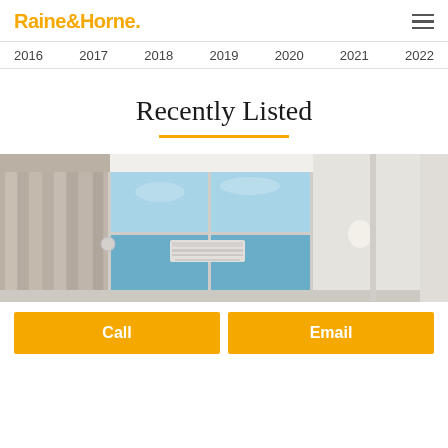Raine&Horne.
2016  2017  2018  2019  2020  2021  2022
Recently Listed
[Figure (photo): Interior photo of a bright apartment room with large sliding glass doors/windows showing a blue sky view, curtains on the left side, a ceiling light fixture, and an air conditioning unit on the wall.]
Call
Email